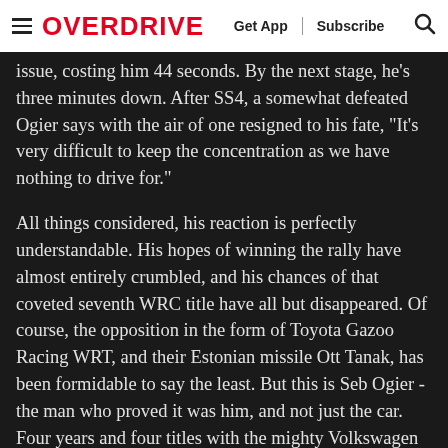≡ OVERDRIVE  Get App | Subscribe 🔍
issue, costing him 44 seconds. By the next stage, he's three minutes down. After SS4, a somewhat defeated Ogier says with the air of one resigned to his fate, "It's very difficult to keep the concentration as we have nothing to drive for."
All things considered, his reaction is perfectly understandable. His hopes of winning the rally have almost entirely crumbled, and his chances of that coveted seventh WRC title have all but disappeared. Of course, the opposition in the form of Toyota Gazoo Racing WRT, and their Estonian missile Ott Tanak, has been formidable to say the least. But this is Seb Ogier - the man who proved it was him, and not just the car. Four years and four titles with the mighty Volkswagen rally squad. And then, when VW pulled the plug on their rally programme in the wake of the dieselgate scandal, Ogier went to the